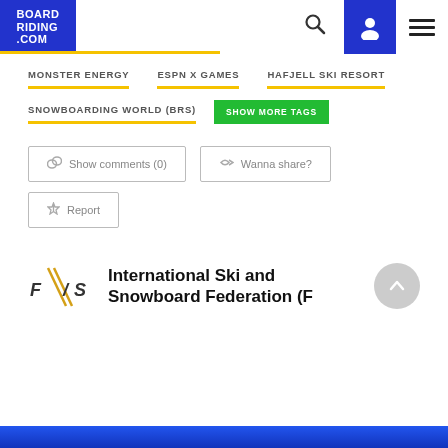BOARD RIDING .COM
MONSTER ENERGY
ESPN X GAMES
HAFJELL SKI RESORT
SNOWBOARDING WORLD (BRS)
SHOW MORE TAGS
Show comments (0)
Wanna share?
Report
[Figure (logo): FIS logo - International Ski and Snowboard Federation]
International Ski and Snowboard Federation (F